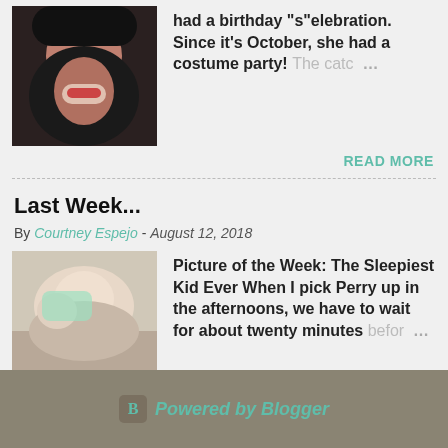[Figure (photo): Person with black hair and open mouth, appears to be shouting or laughing, dark background]
had a birthday "s"elebration. Since it's October, she had a costume party! The catc …
READ MORE
Last Week...
By Courtney Espejo - August 12, 2018
[Figure (photo): Sleeping baby/child in light green clothing]
Picture of the Week: The Sleepiest Kid Ever When I pick Perry up in the afternoons, we have to wait for about twenty minutes befor …
READ MORE
Powered by Blogger